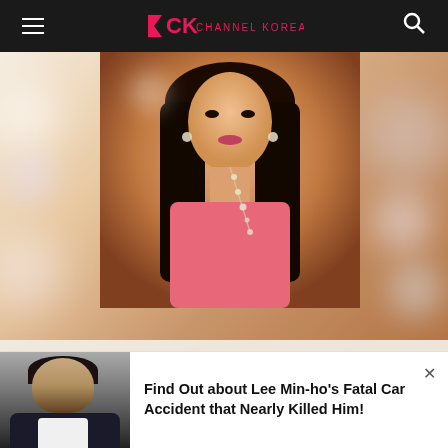CHANNEL KOREA
[Figure (photo): K-pop promotional image of a female artist wearing pink top with diamond necklace, warm bokeh background. Bottom text shows TWICE, 2019.09.25 6PM, and TWICE logo]
[Figure (photo): Portrait photo of Lee Min-ho in dark jacket and white shirt]
Find Out about Lee Min-ho's Fatal Car Accident that Nearly Killed Him!